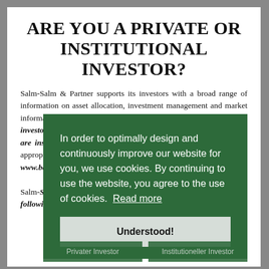ARE YOU A PRIVATE OR INSTITUTIONAL INVESTOR?
Salm-Salm & Partner supports its investors with a broad range of information on asset allocation, investment management and market information. It is therefore important for us to know what type of investor you are. Professional investors according to §67 WpHG are institutional investors. We are happy to provide you with the appropriate information. Please use of the following link: www.balaba.de

Salm-Salm & Partner accepts no liability for the unauthorised use of the following content.
In order to optimally design and continuously improve our website for you, we use cookies. By continuing to use the website, you agree to the use of cookies.  Read more
Understood!
Privater Investor
Institutioneller Investor